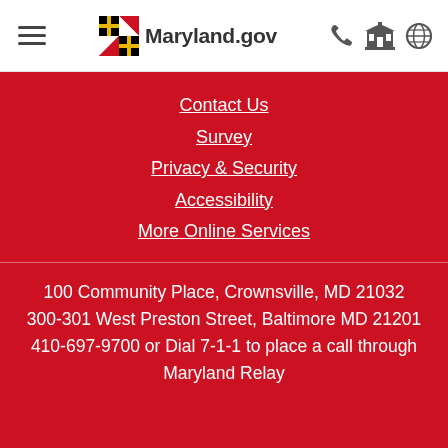Maryland.gov navigation bar with hamburger menu, Maryland.gov logo, phone icon, building icon, globe icon
Contact Us
Survey
Privacy & Security
Accessibility
More Online Services
100 Community Place, Crownsville, MD 21032
300-301 West Preston Street, Baltimore MD 21201
410-697-9700 or Dial 7-1-1 to place a call through Maryland Relay